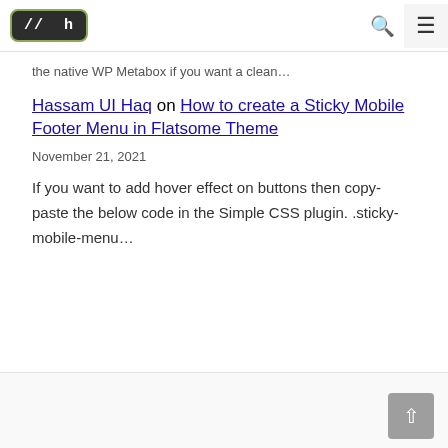// h [navigation bar with search and menu icons]
the native WP Metabox if you want a clean…
Hassam UI Haq on How to create a Sticky Mobile Footer Menu in Flatsome Theme
November 21, 2021
If you want to add hover effect on buttons then copy-paste the below code in the Simple CSS plugin. .sticky-mobile-menu…